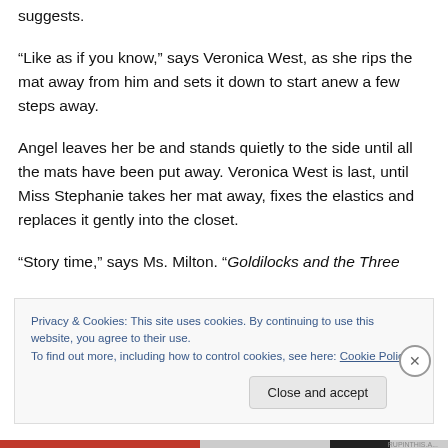suggests.
“Like as if you know,” says Veronica West, as she rips the mat away from him and sets it down to start anew a few steps away.
Angel leaves her be and stands quietly to the side until all the mats have been put away. Veronica West is last, until Miss Stephanie takes her mat away, fixes the elastics and replaces it gently into the closet.
“Story time,” says Ms. Milton. “Goldilocks and the Three
Privacy & Cookies: This site uses cookies. By continuing to use this website, you agree to their use.
To find out more, including how to control cookies, see here: Cookie Policy